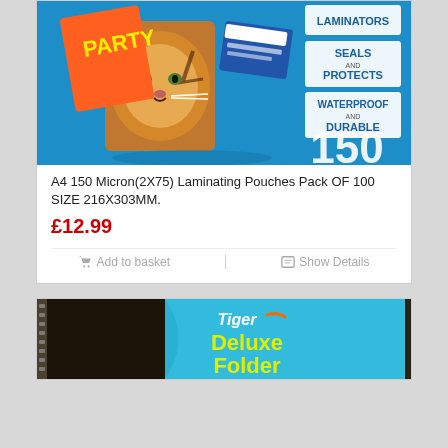[Figure (photo): Product photo of A4 150 Micron laminating pouches box on blue background, showing tiger image, party card, laminator info boxes (LAMINATORS, SEALS AND PROTECTS, WATERPROOF AND DURABLE), and large '150' text]
A4 150 Micron(2X75) Laminating Pouches Pack OF 100 SIZE 216X303MM.
£12.99
Add to basket
Show Details
[Figure (photo): Product photo of Tiger Deluxe Folder, a dark brown leather-look zip-up folder with a blue label showing 'Tiger Deluxe Folder' branding in yellow text]